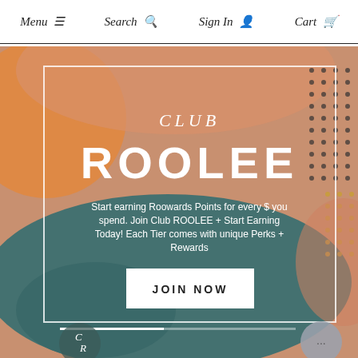Menu  Search  Sign In  Cart
[Figure (illustration): Abstract decorative background with orange circle top-left, salmon/peach shapes, teal organic blob shape in center-bottom, dark dot pattern top-right, yellow dot pattern right side]
CLUB ROOLEE
Start earning Roowards Points for every $ you spend. Join Club ROOLEE + Start Earning Today! Each Tier comes with unique Perks + Rewards
JOIN NOW